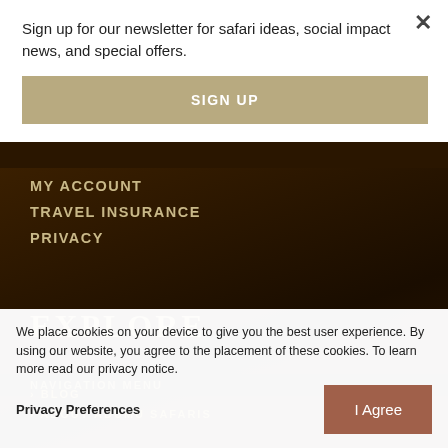Sign up for our newsletter for safari ideas, social impact news, and special offers.
SIGN UP
MY ACCOUNT
TRAVEL INSURANCE
PRIVACY
EXPLORE
NAVIGATION MENU
> BLOG
> ABOUT ADUMU SAFARIS
We place cookies on your device to give you the best user experience. By using our website, you agree to the placement of these cookies. To learn more read our privacy notice.
Privacy Preferences
I Agree